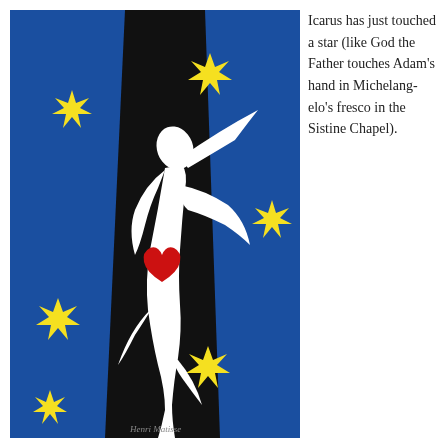[Figure (illustration): Henri Matisse's 'Icarus' (1947) — a white silhouette of a falling figure with a red heart against a black vertical band, surrounded by a blue background with yellow star-burst shapes. Artist's signature visible at bottom.]
Icarus has just touched a star (like God the Father touches Adam's hand in Michelangelo's fresco in the Sistine Chapel).